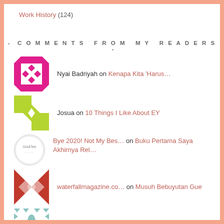Work History (124)
- COMMENTS FROM MY READERS -
Nyai Badriyah on Kenapa Kita 'Harus…
Josua on 10 Things I Like About EY
Bye 2020! Not My Bes… on Buku Pertama Saya Akhirnya Rel…
waterfallmagazine.co… on Musuh Bebuyutan Gue
Sagi on Buku Pertama Saya Akhirnya Rel…
Chara Salamanca on Tips Buat Pemakai Lensa Kontak